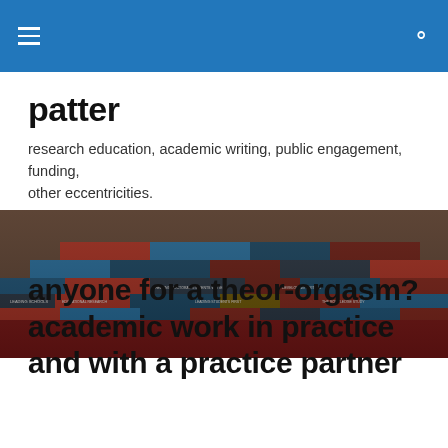patter — navigation bar
patter
research education, academic writing, public engagement, funding, other eccentricities.
[Figure (photo): A large stack of academic books piled horizontally, with visible spines showing various educational and research titles, photographed on a desk.]
anyone for a theor-orgasm? academic work in practice and with a practice partner